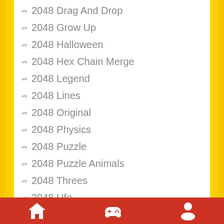2048 Drag And Drop
2048 Grow Up
2048 Halloween
2048 Hex Chain Merge
2048 Legend
2048 Lines
2048 Original
2048 Physics
2048 Puzzle
2048 Puzzle Animals
2048 Threes
2048 Ufo
2048 X2 Merge Blocks
2048cardgame
21 Solitaire
Home | Games | Profile